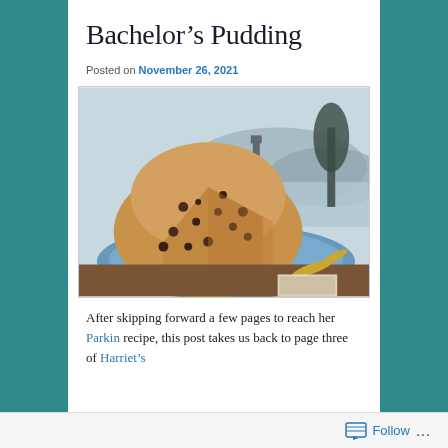Bachelor's Pudding
Posted on November 26, 2021
[Figure (photo): A round pudding cake with dried fruit/currants, with a slice cut out, displayed on a blue plate. Background shows a vintage scenic landscape painting with hills and water.]
After skipping forward a few pages to reach her Parkin recipe, this post takes us back to page three of Harriet's
Follow …